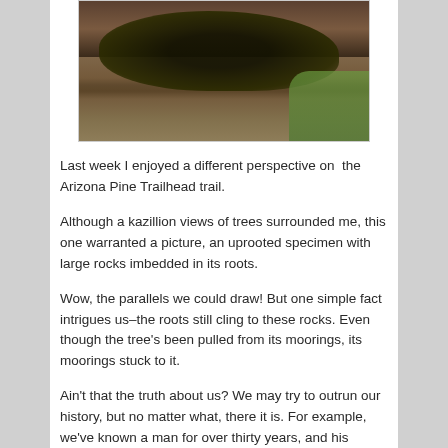[Figure (photo): A fallen or uprooted dark animal/tree on dirt trail with rocks and green vegetation in background]
Last week I enjoyed a different perspective on  the Arizona Pine Trailhead trail.
Although a kazillion views of trees surrounded me, this one warranted a picture, an uprooted specimen with large rocks imbedded in its roots.
Wow, the parallels we could draw! But one simple fact intrigues us–the roots still cling to these rocks. Even though the tree's been pulled from its moorings, its moorings stuck to it.
Ain't that the truth about us? We may try to outrun our history, but no matter what, there it is. For example, we've known a man for over thirty years, and his choices have baffled, disappointed, and sometimes infuriated us. But